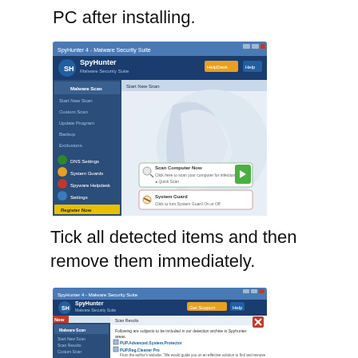PC after installing.
[Figure (screenshot): SpyHunter 4 malware security suite interface showing Malware Scan panel with Start New Scan, Custom Scan, Update Program, Backup, and Exclusions options on the left sidebar, and a main panel showing Scan Computer Now and System Guard buttons with green play button icon.]
Tick all detected items and then remove them immediately.
[Figure (screenshot): SpyHunter 4 malware security suite showing scan results with detected items listed including PUP.Advanced.System.Protector and PUP.Reg.Cleaner Pro, with checkboxes and remove options, showing a red X button to close the scan results overlay.]